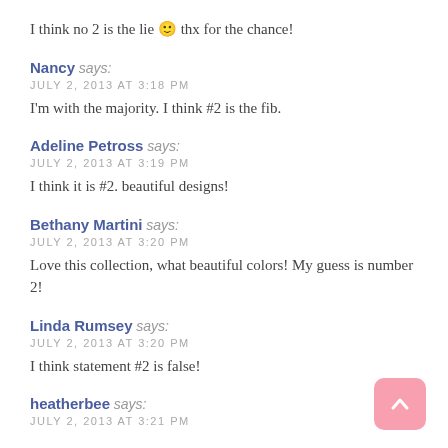I think no 2 is the lie 🙂 thx for the chance!
Nancy says:
JULY 2, 2013 AT 3:18 PM
I'm with the majority. I think #2 is the fib.
Adeline Petross says:
JULY 2, 2013 AT 3:19 PM
I think it is #2. beautiful designs!
Bethany Martini says:
JULY 2, 2013 AT 3:20 PM
Love this collection, what beautiful colors! My guess is number 2!
Linda Rumsey says:
JULY 2, 2013 AT 3:20 PM
I think statement #2 is false!
heatherbee says:
JULY 2, 2013 AT 3:21 PM